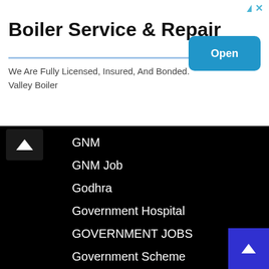[Figure (screenshot): Advertisement banner for Boiler Service & Repair by Valley Boiler with an Open button]
GNM
GNM Job
Godhra
Government Hospital
GOVERNMENT JOBS
Government Scheme
Government Schemes
Govind Guru Tribal University
Govt. Nursing College
Govt. Printing Press
GPCB
GPHC